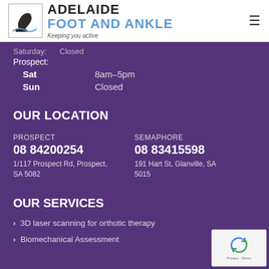[Figure (logo): Adelaide Foot and Ankle logo with foot/ankle illustration, tagline: Keeping you active]
Saturday: Closed
Prospect:
Sat  8am–5pm
Sun  Closed
OUR LOCATION
PROSPECT
08 84200254
1/117 Prospect Rd, Prospect, SA 5082
SEMAPHORE
08 83415598
191 Hart St, Glanville, SA 5015
OUR SERVICES
3D laser scanning for orthotic therapy
Biomechanical Assessment